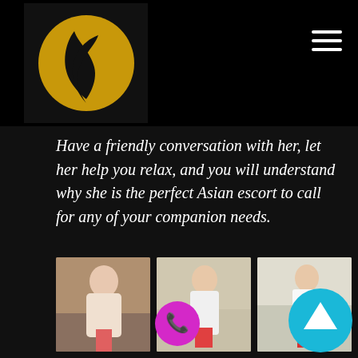[Figure (logo): Gold circular logo with black feather/wing silhouette on black header background]
Have a friendly conversation with her, let her help you relax, and you will understand why she is the perfect Asian escort to call for any of your companion needs.
[Figure (photo): Three photos of a young Asian woman in white top and red shorts, posed in an interior setting]
[Figure (infographic): Magenta circular phone/call button icon]
[Figure (infographic): Cyan circular scroll-up arrow button]